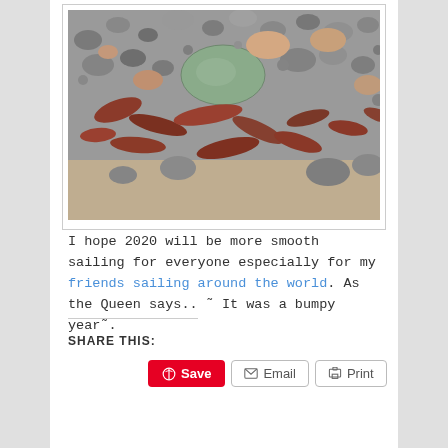[Figure (photo): Close-up photo of a rocky beach with gray and pinkish stones mixed with dried brown leaves on sandy ground]
I hope 2020 will be more smooth sailing for everyone especially for my friends sailing around the world. As the Queen says.. ˜ It was a bumpy year˜.
SHARE THIS: